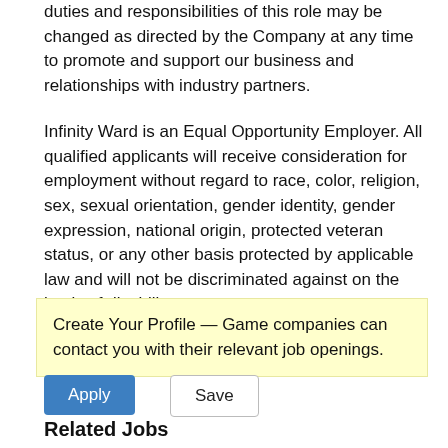duties and responsibilities of this role may be changed as directed by the Company at any time to promote and support our business and relationships with industry partners.
Infinity Ward is an Equal Opportunity Employer. All qualified applicants will receive consideration for employment without regard to race, color, religion, sex, sexual orientation, gender identity, gender expression, national origin, protected veteran status, or any other basis protected by applicable law and will not be discriminated against on the basis of disability.
Create Your Profile — Game companies can contact you with their relevant job openings.
Apply
Save
Related Jobs